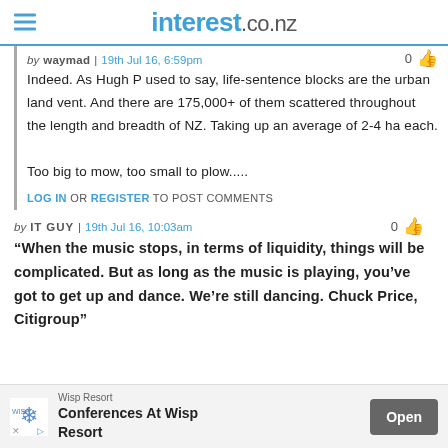interest.co.nz
by waymad | 19th Jul 16, 6:59pm
Indeed. As Hugh P used to say, life-sentence blocks are the urban land vent. And there are 175,000+ of them scattered throughout the length and breadth of NZ. Taking up an average of 2-4 ha each.

Too big to mow, too small to plow.....
LOG IN OR REGISTER TO POST COMMENTS
by IT GUY | 19th Jul 16, 10:03am
“When the music stops, in terms of liquidity, things will be complicated. But as long as the music is playing, you’ve got to get up and dance. We’re still dancing. Chuck Price, Citigroup”
[Figure (infographic): Advertisement banner for Wisp Resort - Conferences At Wisp Resort, with Open button]